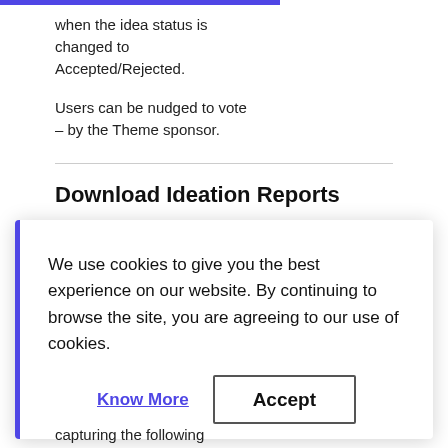when the idea status is changed to Accepted/Rejected.
Users can be nudged to vote – by the Theme sponsor.
Download Ideation Reports
We use cookies to give you the best experience on our website. By continuing to browse the site, you are agreeing to our use of cookies.
Know More
Accept
capturing the following